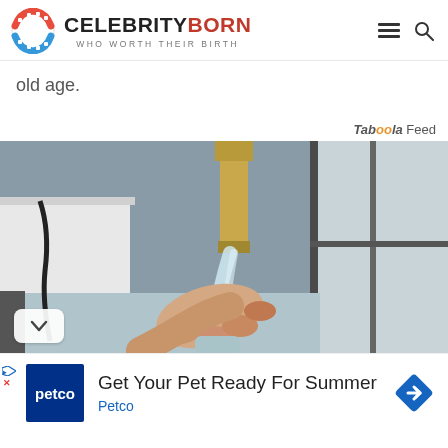CELEBRITY BORN — WHO WORTH THEIR BIRTH
old age.
Taboola Feed
[Figure (photo): A hand under a running kitchen faucet with a gold/brass finish, filmed in a kitchen setting near a window]
Get Your Pet Ready For Summer
Petco